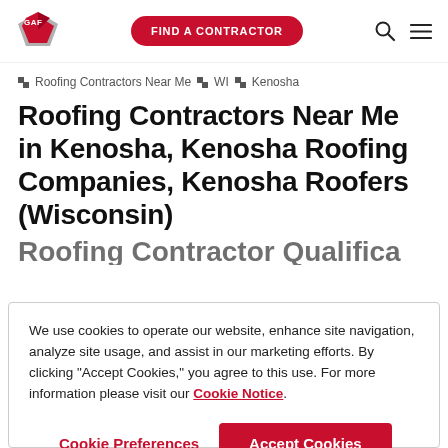[Figure (logo): GAF logo - red and grey diamond shape with GAF text]
FIND A CONTRACTOR
Roofing Contractors Near Me › WI › Kenosha
Roofing Contractors Near Me in Kenosha, Kenosha Roofing Companies, Kenosha Roofers (Wisconsin)
We use cookies to operate our website, enhance site navigation, analyze site usage, and assist in our marketing efforts. By clicking "Accept Cookies," you agree to this use. For more information please visit our Cookie Notice.
Cookie Preferences
Accept Cookies